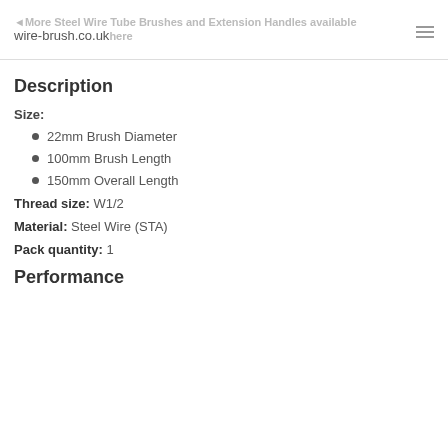wire-brush.co.uk | ◄More Steel Wire Tube Brushes and Extension Handles available here
Description
Size:
22mm Brush Diameter
100mm Brush Length
150mm Overall Length
Thread size: W1/2
Material: Steel Wire (STA)
Pack quantity: 1
Performance